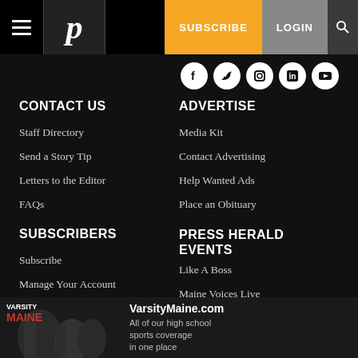Press Herald — SUBSCRIBE | LOGIN
[Figure (logo): Social media icons: Facebook, Twitter, Instagram, LinkedIn, YouTube]
CONTACT US
ADVERTISE
Staff Directory
Media Kit
Send a Story Tip
Contact Advertising
Letters to the Editor
Help Wanted Ads
FAQs
Place an Obituary
SUBSCRIBERS
PRESS HERALD EVENTS
Subscribe
Like A Boss
Manage Your Account
Maine Voices Live
[Figure (photo): VarsityMaine.com advertisement: football players with text 'All of our high school sports coverage in one place']